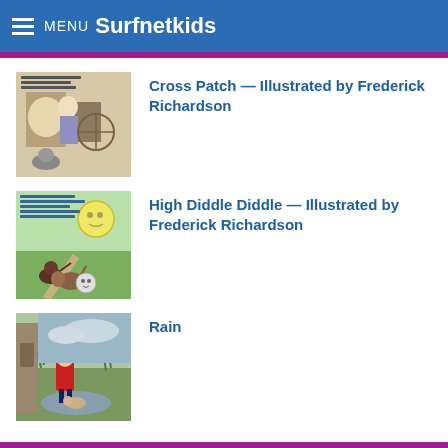MENU Surfnetkids
Cross Patch — Illustrated by Frederick Richardson
High Diddle Diddle — Illustrated by Frederick Richardson
Rain